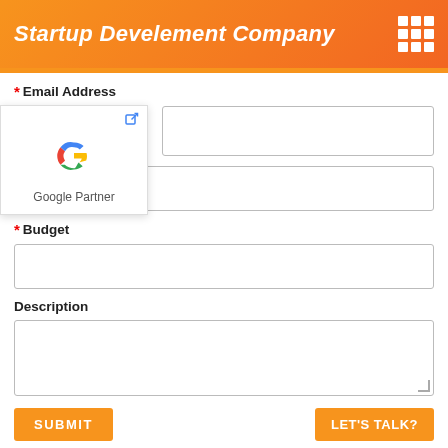Startup Develement Company
* Email Address
[Figure (logo): Google Partner logo with Google G icon and text 'Google Partner' inside a white popup card with a link icon in top-right corner]
* Budget
Description
SUBMIT
LET'S TALK?